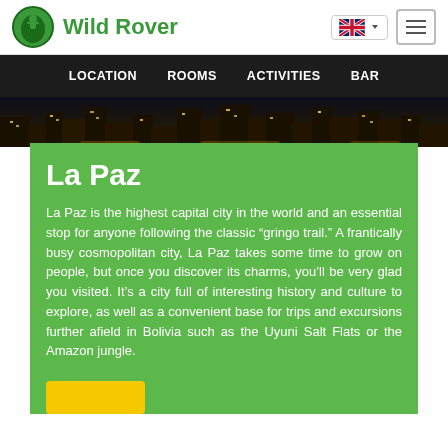Wild Rover
LOCATION   ROOMS   ACTIVITIES   BAR
[Figure (photo): Nighttime cityscape of La Paz, Bolivia, showing illuminated buildings and city lights at dusk.]
La Paz
La Paz is the highest capital city in the world and an essential stop for anyone following the classic “gringo trail.” A frantically busy cosmopolitan city, La Paz takes some time to grow on people, but once you discover its charms, you’ll be very glad you visited. It’s a city full of interesting history and culture to explore, as well as a convenient base for trips and excursions further afield in Bolivia such as the Uyuni Salt Flats or the Amazon jungle.